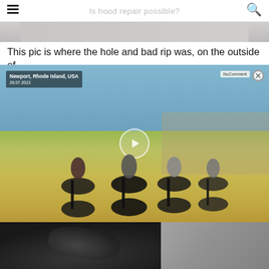Is hood repair possible?
[Figure (photo): Top partial image, grey/blurred background, appears to be part of a previous photo on the article page]
This pic is where the hole and bad rip was, on the outside of
[Figure (photo): Embedded video overlay showing cyclists at an outdoor event in Newport, Rhode Island, USA on 28.07.2022. Multiple riders on bikes on grass with crowd in background. Play button visible in center. NoComment badge in top right.]
[Figure (photo): Close-up photo of a black rubber/tire or similar dark material showing texture and a damaged or worn area]